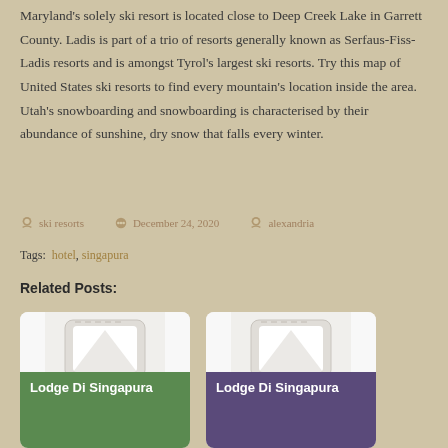Maryland's solely ski resort is located close to Deep Creek Lake in Garrett County. Ladis is part of a trio of resorts generally known as Serfaus-Fiss-Ladis resorts and is amongst Tyrol's largest ski resorts. Try this map of United States ski resorts to find every mountain's location inside the area. Utah's snowboarding and snowboarding is characterised by their abundance of sunshine, dry snow that falls every winter.
ski resorts   December 24, 2020   alexandria
Tags: hotel, singapura
Related Posts:
[Figure (illustration): Card thumbnail placeholder image showing a document/phone icon in gray]
Lodge Di Singapura
[Figure (illustration): Card thumbnail placeholder image showing a document/phone icon in gray]
Lodge Di Singapura